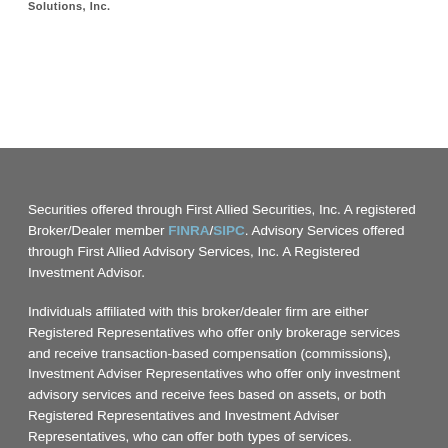Solutions, Inc.
Securities offered through First Allied Securities, Inc. A registered Broker/Dealer member FINRA/SIPC. Advisory Services offered through First Allied Advisory Services, Inc. A Registered Investment Advisor.
Individuals affiliated with this broker/dealer firm are either Registered Representatives who offer only brokerage services and receive transaction-based compensation (commissions), Investment Adviser Representatives who offer only investment advisory services and receive fees based on assets, or both Registered Representatives and Investment Adviser Representatives, who can offer both types of services.